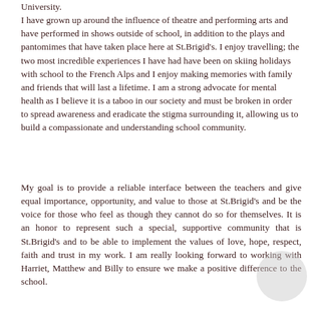University. I have grown up around the influence of theatre and performing arts and have performed in shows outside of school, in addition to the plays and pantomimes that have taken place here at St.Brigid's. I enjoy travelling; the two most incredible experiences I have had have been on skiing holidays with school to the French Alps and I enjoy making memories with family and friends that will last a lifetime. I am a strong advocate for mental health as I believe it is a taboo in our society and must be broken in order to spread awareness and eradicate the stigma surrounding it, allowing us to build a compassionate and understanding school community.
My goal is to provide a reliable interface between the teachers and give equal importance, opportunity, and value to those at St.Brigid's and be the voice for those who feel as though they cannot do so for themselves. It is an honor to represent such a special, supportive community that is St.Brigid's and to be able to implement the values of love, hope, respect, faith and trust in my work. I am really looking forward to working with Harriet, Matthew and Billy to ensure we make a positive difference to the school.